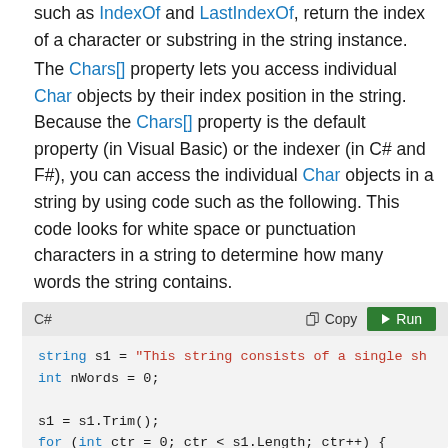such as IndexOf and LastIndexOf, return the index of a character or substring in the string instance.
The Chars[] property lets you access individual Char objects by their index position in the string. Because the Chars[] property is the default property (in Visual Basic) or the indexer (in C# and F#), you can access the individual Char objects in a string by using code such as the following. This code looks for white space or punctuation characters in a string to determine how many words the string contains.
[Figure (screenshot): C# code snippet toolbar with Copy and Run buttons, followed by code: string s1 = "This string consists of a single sh...", int nWords = 0;, s1 = s1.Trim();, for (int ctr = 0; ctr < s1.Length; ctr++) {, if (Char.IsPunctuation(s1[ctr]) | Char.IsWhit..., nWords++;, }]